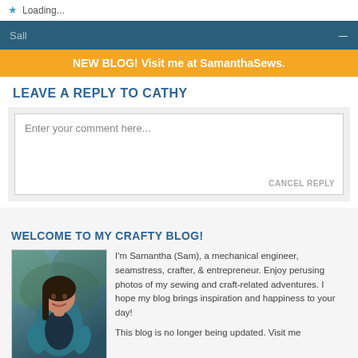Loading...
NEW BLOG! Visit me at SamanthaSews.
LEAVE A REPLY TO CATHY
Enter your comment here...
CANCEL REPLY
WELCOME TO MY CRAFTY BLOG!
[Figure (photo): Photo of Samantha (Sam), a woman with long dark hair wearing a teal cardigan, smiling outdoors]
I'm Samantha (Sam), a mechanical engineer, seamstress, crafter, & entrepreneur. Enjoy perusing photos of my sewing and craft-related adventures. I hope my blog brings inspiration and happiness to your day!
This blog is no longer being updated. Visit me